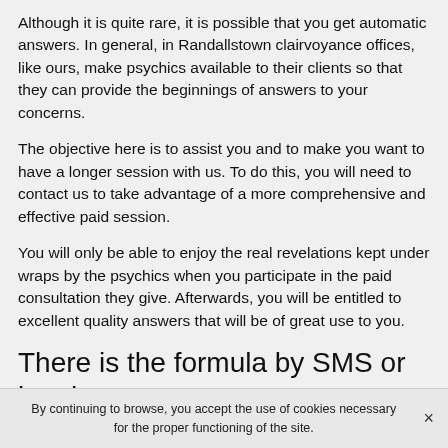Although it is quite rare, it is possible that you get automatic answers. In general, in Randallstown clairvoyance offices, like ours, make psychics available to their clients so that they can provide the beginnings of answers to your concerns.
The objective here is to assist you and to make you want to have a longer session with us. To do this, you will need to contact us to take advantage of a more comprehensive and effective paid session.
You will only be able to enjoy the real revelations kept under wraps by the psychics when you participate in the paid consultation they give. Afterwards, you will be entitled to excellent quality answers that will be of great use to you.
There is the formula by SMS or by phone
By continuing to browse, you accept the use of cookies necessary for the proper functioning of the site.